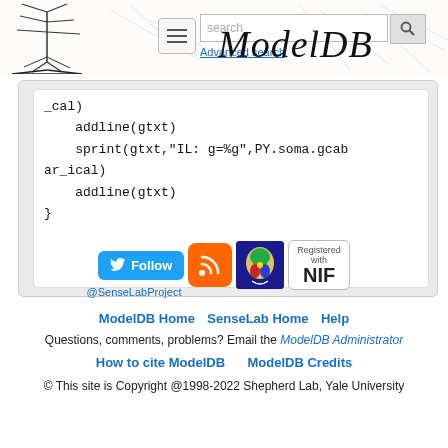ModelDB — Advanced search
_cal)
    addline(gtxt)
    sprint(gtxt,"IL: g=%g",PY.soma.gcabar_ical)
    addline(gtxt)
}
[Figure (logo): Twitter Follow button with bird icon, RSS feed icon, SenseLab brain icon, Registered with NIF badge]
ModelDB Home  SenseLab Home  Help
Questions, comments, problems? Email the ModelDB Administrator
How to cite ModelDB    ModelDB Credits
© This site is Copyright @1998-2022 Shepherd Lab, Yale University